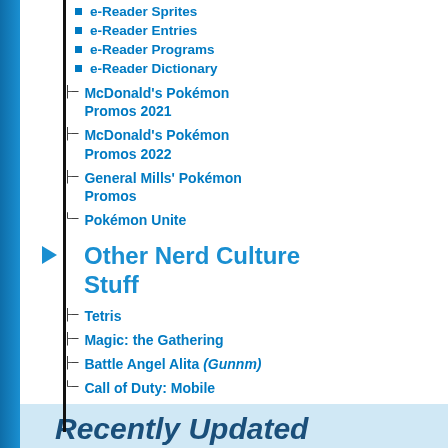e-Reader Sprites
e-Reader Entries
e-Reader Programs
e-Reader Dictionary
McDonald's Pokémon Promos 2021
McDonald's Pokémon Promos 2022
General Mills' Pokémon Promos
Pokémon Unite
Other Nerd Culture Stuff
Tetris
Magic: the Gathering
Battle Angel Alita (Gunnm)
Call of Duty: Mobile
Recently Updated
McDonald's Pokémon Promos 2022